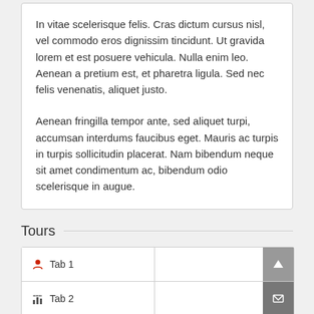In vitae scelerisque felis. Cras dictum cursus nisl, vel commodo eros dignissim tincidunt. Ut gravida lorem et est posuere vehicula. Nulla enim leo. Aenean a pretium est, et pharetra ligula. Sed nec felis venenatis, aliquet justo.
Aenean fringilla tempor ante, sed aliquet turpi, accumsan interdums faucibus eget. Mauris ac turpis in turpis sollicitudin placerat. Nam bibendum neque sit amet condimentum ac, bibendum odio scelerisque in augue.
Tours
Tab 1
Tab 2